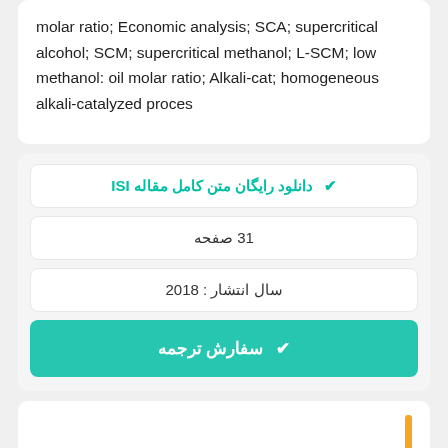molar ratio; Economic analysis; SCA; supercritical alcohol; SCM; supercritical methanol; L-SCM; low methanol: oil molar ratio; Alkali-cat; homogeneous alkali-catalyzed proces
دانلود رایگان متن کامل مقاله ISI
31 صفحه
سال انتشار : 2018
سفارش ترجمه